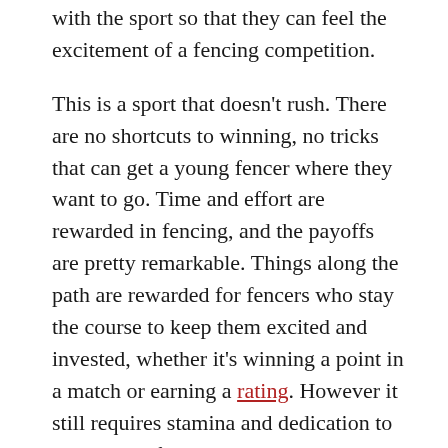with the sport so that they can feel the excitement of a fencing competition.
This is a sport that doesn't rush. There are no shortcuts to winning, no tricks that can get a young fencer where they want to go. Time and effort are rewarded in fencing, and the payoffs are pretty remarkable. Things along the path are rewarded for fencers who stay the course to keep them excited and invested, whether it's winning a point in a match or earning a rating. However it still requires stamina and dedication to compete in fencing.
5. Better school performance
Practically all kids who are doing something at this age of